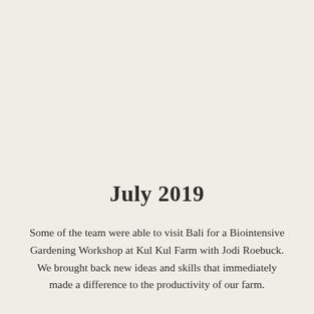July 2019
Some of the team were able to visit Bali for a Biointensive Gardening Workshop at Kul Kul Farm with Jodi Roebuck.
We brought back new ideas and skills that immediately made a difference to the productivity of our farm.